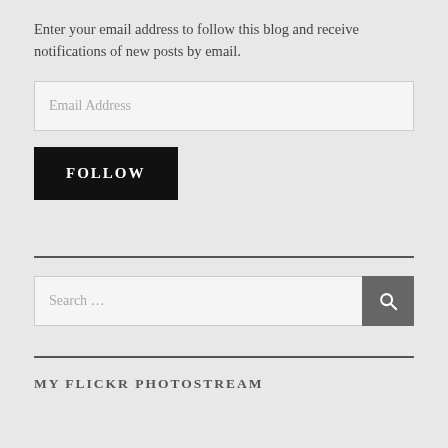Enter your email address to follow this blog and receive notifications of new posts by email.
Email Address
FOLLOW
Search ...
MY FLICKR PHOTOSTREAM